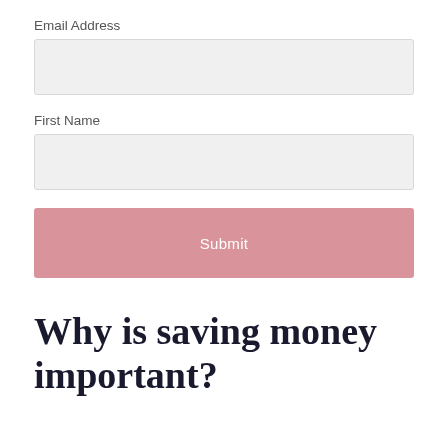Email Address
[Figure (other): Empty text input field for Email Address]
First Name
[Figure (other): Empty text input field for First Name]
[Figure (other): Submit button with pink/rose background]
Why is saving money important?